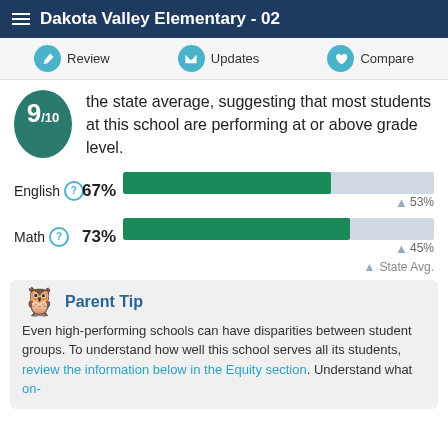Dakota Valley Elementary - 02
Review   Updates   Compare
9/10 the state average, suggesting that most students at this school are performing at or above grade level.
[Figure (bar-chart): English and Math proficiency]
Parent Tip
Even high-performing schools can have disparities between student groups. To understand how well this school serves all its students, review the information below in the Equity section. Understand what on-